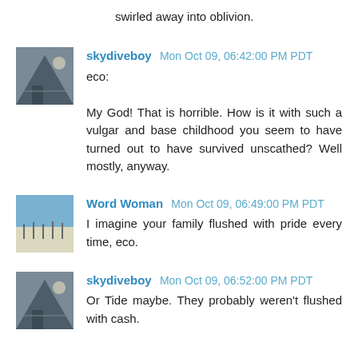swirled away into oblivion.
skydiveboy Mon Oct 09, 06:42:00 PM PDT
eco:

My God! That is horrible. How is it with such a vulgar and base childhood you seem to have turned out to have survived unscathed? Well mostly, anyway.
Word Woman Mon Oct 09, 06:49:00 PM PDT
I imagine your family flushed with pride every time, eco.
skydiveboy Mon Oct 09, 06:52:00 PM PDT
Or Tide maybe. They probably weren't flushed with cash.